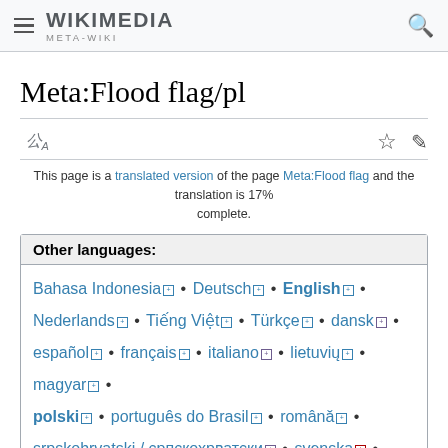WIKIMEDIA META-WIKI
Meta:Flood flag/pl
This page is a translated version of the page Meta:Flood flag and the translation is 17% complete.
Other languages: Bahasa Indonesia • Deutsch • English • Nederlands • Tiếng Việt • Türkçe • dansk • español • français • italiano • lietuvių • magyar • polski • português do Brasil • română • srpskohrvatski / српскохрватски • svenska • русский • українська • اردو • العربية • فارسی • (various scripts)